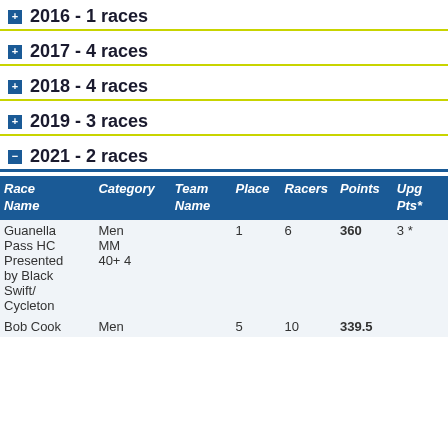2016 - 1 races
2017 - 4 races
2018 - 4 races
2019 - 3 races
2021 - 2 races
| Race Name | Category | Team Name | Place | Racers | Points | Upg Pts* |
| --- | --- | --- | --- | --- | --- | --- |
| Guanella Pass HC Presented by Black Swift/ Cycleton | Men MM 40+ 4 |  | 1 | 6 | 360 | 3 * |
| Bob Cook | Men |  | 5 | 10 | 339.5 |  |